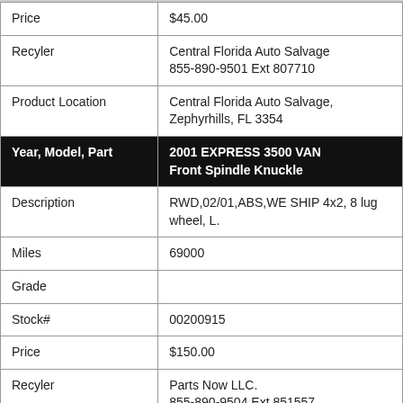| Price | $45.00 |
| Recyler | Central Florida Auto Salvage
855-890-9501 Ext 807710 |
| Product Location | Central Florida Auto Salvage, Zephyrhills, FL 3354 |
| Year, Model, Part | 2001 EXPRESS 3500 VAN
Front Spindle Knuckle |
| Description | RWD,02/01,ABS,WE SHIP 4x2, 8 lug wheel, L. |
| Miles | 69000 |
| Grade |  |
| Stock# | 00200915 |
| Price | $150.00 |
| Recyler | Parts Now LLC.
855-890-9504 Ext 851557 |
| Product Location | Parts Now LLC. , Hamilton , AL 35570 |